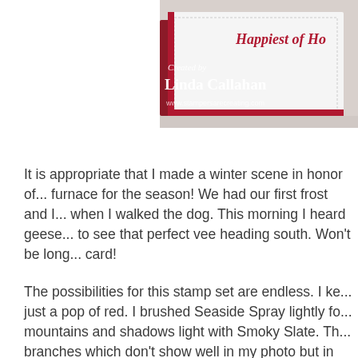[Figure (photo): Photo of a handmade greeting card with red border and white interior showing 'Happiest of Ho...' in red script. Overlay text reads 'Created by Linda Callahan' with a website URL, white text on the photo.]
It is appropriate that I made a winter scene in honor of... furnace for the season!  We had our first frost and I... when I walked the dog.  This morning I heard geese... to see that perfect vee heading south.  Won't be long... card!
The possibilities for this stamp set are endless.  I ke... just a pop of red.  I brushed Seaside Spray lightly fo... mountains and shadows light with Smoky Slate.  Th... branches which don't show well in my photo but in re...